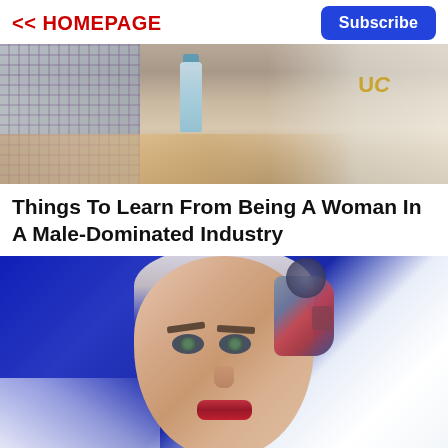<< HOMEPAGE
Subscribe
[Figure (photo): Photo of people sitting at a table, one person wearing a plaid shirt with bracelets, another in a white shirt with UC lettering visible, and a water bottle on the table]
Things To Learn From Being A Woman In A Male-Dominated Industry
[Figure (photo): Close-up photo of Sophia the humanoid robot face, showing realistic skin-toned face with green eyes, dark red lips, sculpted eyebrows, and visible robotic components at the top and side of the head, with a blue background]